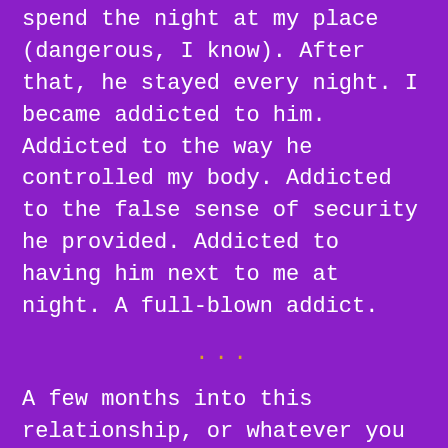spend the night at my place (dangerous, I know). After that, he stayed every night. I became addicted to him. Addicted to the way he controlled my body. Addicted to the false sense of security he provided. Addicted to having him next to me at night. A full-blown addict.
...
A few months into this relationship, or whatever you want to call it, he asked me to take him to Ithica the upcoming weekend. He claimed his Grandma lived there, but he didn't